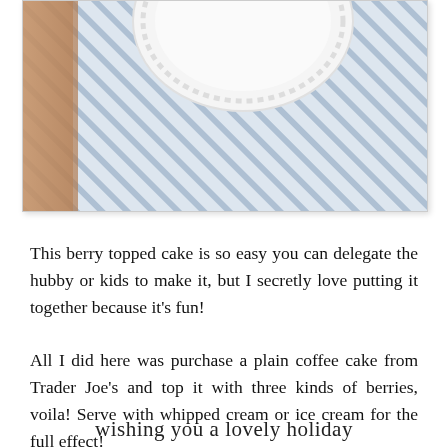[Figure (photo): A close-up photo of a blue and white striped table runner or cloth with a white decorative plate partially visible at the top, resting on what appears to be a wooden surface.]
This berry topped cake is so easy you can delegate the hubby or kids to make it, but I secretly love putting it together because it's fun!
All I did here was purchase a plain coffee cake from Trader Joe's and top it with three kinds of berries, voila! Serve with whipped cream or ice cream for the full effect!
wishing you a lovely holiday